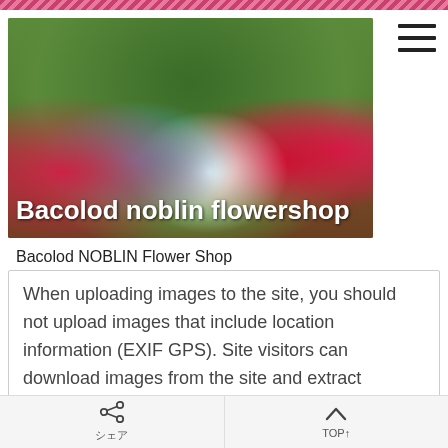[Figure (photo): Hero banner image of colorful flower bouquets including red, blue/teal, white and pink roses arranged on a wooden surface with green background. Bold white text overlay reads 'Bacolod noblin flowershop']
Bacolod NOBLIN Flower Shop
When uploading images to the site, you should not upload images that include location information (EXIF GPS). Site visitors can download images from the site and extract location data.
Inquiry form
Cookie
シェア　TOP↑